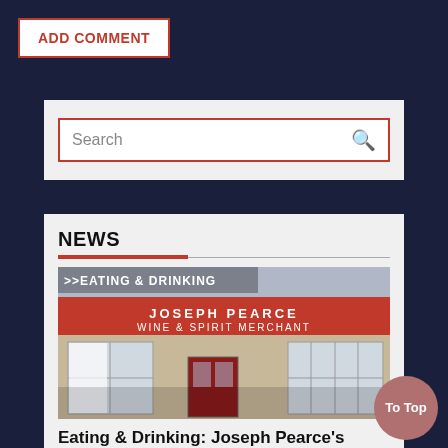ADD COMMENT
Search
NEWS
[Figure (photo): Exterior photo of Joseph Pearce Wine & Spirit Merchant pub with red facade, white-curtained windows, and overlaid text >>EATING & DRINKING]
Eating & Drinking: Joseph Pearce's
For more than a century, Joseph Pearce's was a traditional drinking
To Top